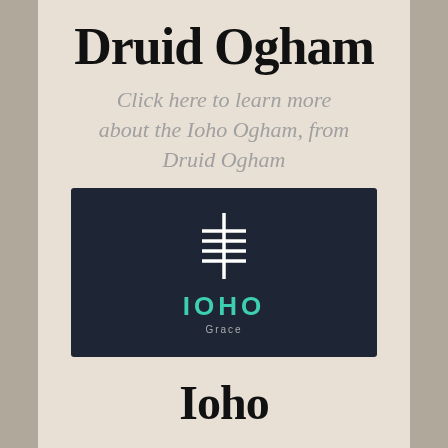Druid Ogham
Click here to learn more about the Ioho Ogham, from Druid Ogham
[Figure (logo): Dark navy rectangle containing the Ioho Ogham symbol (white vertical line with horizontal strokes) above the text 'IOHO' in teal/green and 'Grace' in small grey text below]
Ioho